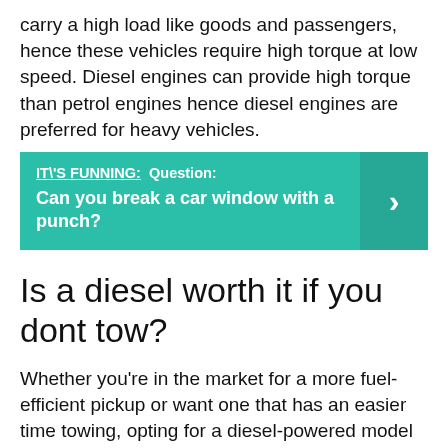carry a high load like goods and passengers, hence these vehicles require high torque at low speed. Diesel engines can provide high torque than petrol engines hence diesel engines are preferred for heavy vehicles.
[Figure (infographic): Teal call-out box with white text reading "IT'S FUNNING: Question: Can you break a car window with a punch?" with a right-arrow chevron on the right side.]
Is a diesel worth it if you dont tow?
Whether you're in the market for a more fuel-efficient pickup or want one that has an easier time towing, opting for a diesel-powered model may be worth it for you. But if you don't plan on towing and would rather